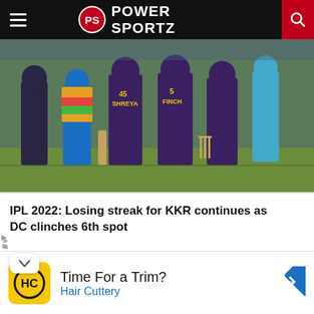POWER SPORTZ
[Figure (photo): Cricket players from KKR and DC teams standing on the pitch, viewed from behind, wearing team jerseys. Jersey names visible: SHREYA (#45), FINCH (#5).]
IPL 2022: Losing streak for KKR continues as DC clinches 6th spot
[Figure (photo): Cricket match action photo, partially visible at the bottom of the content area, showing a crowd in the background.]
Time For a Trim?
Hair Cuttery